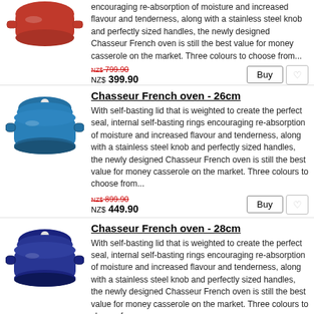[Figure (photo): Red Chasseur French oven casserole dish (partial, top portion cut off)]
encouraging re-absorption of moisture and increased flavour and tenderness, along with a stainless steel knob and perfectly sized handles, the newly designed Chasseur French oven is still the best value for money casserole on the market. Three colours to choose from...
NZ$ 799.90 (strikethrough) NZ$ 399.90
[Figure (photo): Blue Chasseur French oven - 26cm]
Chasseur French oven - 26cm
With self-basting lid that is weighted to create the perfect seal, internal self-basting rings encouraging re-absorption of moisture and increased flavour and tenderness, along with a stainless steel knob and perfectly sized handles, the newly designed Chasseur French oven is still the best value for money casserole on the market. Three colours to choose from...
NZ$ 899.90 (strikethrough) NZ$ 449.90
[Figure (photo): Dark blue Chasseur French oven - 28cm]
Chasseur French oven - 28cm
With self-basting lid that is weighted to create the perfect seal, internal self-basting rings encouraging re-absorption of moisture and increased flavour and tenderness, along with a stainless steel knob and perfectly sized handles, the newly designed Chasseur French oven is still the best value for money casserole on the market. Three colours to choose from...
NZ$ 999.90 (strikethrough) NZ$ 499.90
Chasseur French oval oven - 27cm